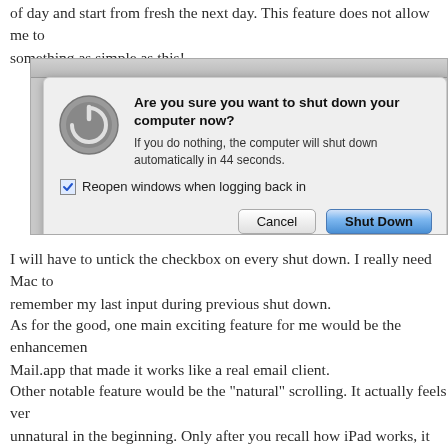of day and start from fresh the next day. This feature does not allow me to something as simple as this!
[Figure (screenshot): macOS shutdown dialog box showing power icon, message 'Are you sure you want to shut down your computer now?', countdown of 44 seconds, a checked checkbox 'Reopen windows when logging back in', and Cancel / Shut Down buttons.]
I will have to untick the checkbox on every shut down. I really need Mac to remember my last input during previous shut down.
As for the good, one main exciting feature for me would be the enhancement Mail.app that made it works like a real email client.
Other notable feature would be the "natural" scrolling. It actually feels very unnatural in the beginning. Only after you recall how iPad works, it feels more natural. But scrolling backwards with a mouse doesn't feel natural and to get the free Scroll Reverser to reverse mouse scroll.